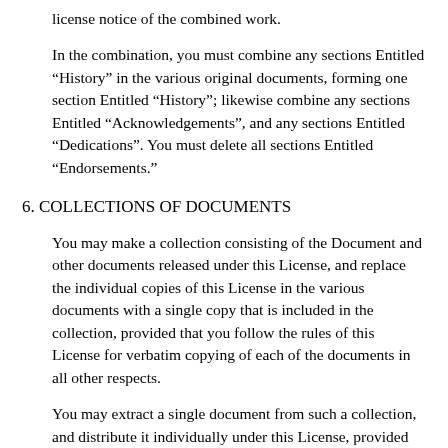license notice of the combined work.
In the combination, you must combine any sections Entitled “History” in the various original documents, forming one section Entitled “History”; likewise combine any sections Entitled “Acknowledgements”, and any sections Entitled “Dedications”. You must delete all sections Entitled “Endorsements.”
6. COLLECTIONS OF DOCUMENTS
You may make a collection consisting of the Document and other documents released under this License, and replace the individual copies of this License in the various documents with a single copy that is included in the collection, provided that you follow the rules of this License for verbatim copying of each of the documents in all other respects.
You may extract a single document from such a collection, and distribute it individually under this License, provided you insert a copy of this License into the extracted document and follow this License in all